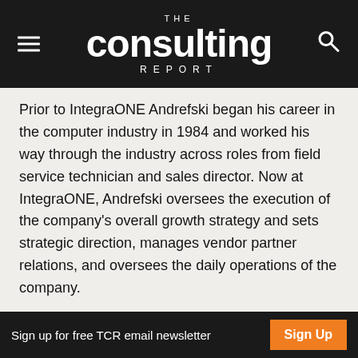THE Consulting REPORT
Prior to IntegraONE Andrefski began his career in the computer industry in 1984 and worked his way through the industry across roles from field service technician and sales director. Now at IntegraONE, Andrefski oversees the execution of the company's overall growth strategy and sets strategic direction, manages vendor partner relations, and oversees the daily operations of the company.
18. Ronn Bailey
Company: Vanguard Integrity Professionals
Title: Founder, Chief Executive Officer, and Chief Technology
Sign up for free TCR email newsletter